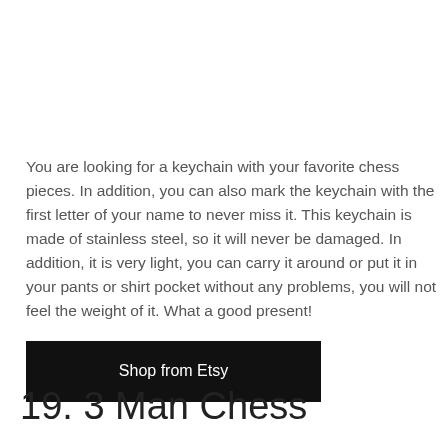You are looking for a keychain with your favorite chess pieces. In addition, you can also mark the keychain with the first letter of your name to never miss it. This keychain is made of stainless steel, so it will never be damaged. In addition, it is very light, you can carry it around or put it in your pants or shirt pocket without any problems, you will not feel the weight of it. What a good present!
Shop from Etsy
19. 3 Man Chess